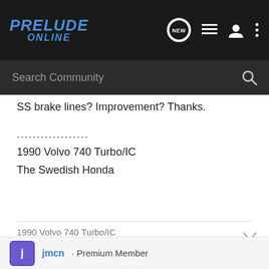PRELUDE ONLINE
Search Community
SS brake lines? Improvement? Thanks.
------------------
1990 Volvo 740 Turbo/IC
The Swedish Honda
1990 Volvo 740 Turbo/IC
The Swedish Honda
jmcn · Premium Member